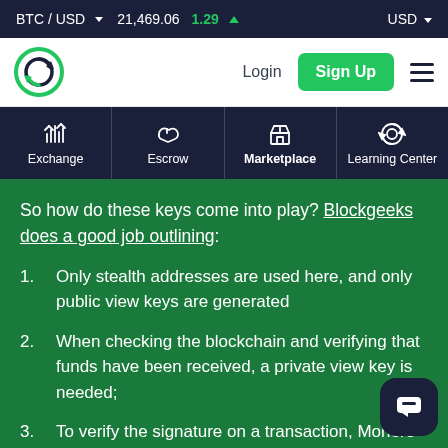BTC / USD  21,469.06  1.29 ▲  USD
[Figure (logo): Circular green and dark navy logo with refresh/cycle arrows]
Login
Sign Up
[Figure (infographic): Navigation tabs: Exchange (candlestick icon), Escrow (handshake icon), Marketplace (store icon), Learning Center (refresh/target icon)]
So how do these keys come into play? Blockgeeks does a good job outlining:
Only stealth addresses are used here, and only public view keys are generated
When checking the blockchain and verifying that funds have been received, a private view key is needed;
To verify the signature on a transaction, Monero